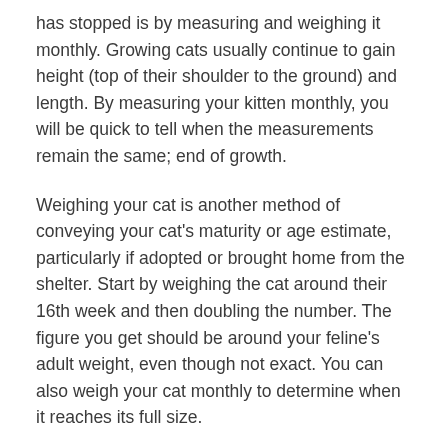has stopped is by measuring and weighing it monthly. Growing cats usually continue to gain height (top of their shoulder to the ground) and length. By measuring your kitten monthly, you will be quick to tell when the measurements remain the same; end of growth.
Weighing your cat is another method of conveying your cat's maturity or age estimate, particularly if adopted or brought home from the shelter. Start by weighing the cat around their 16th week and then doubling the number. The figure you get should be around your feline's adult weight, even though not exact. You can also weigh your cat monthly to determine when it reaches its full size.
When Does a Cat Become a Kitten? Final Words